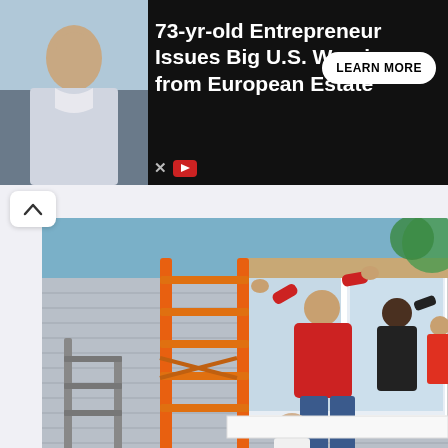[Figure (infographic): Advertisement banner: black background, photo of elderly man on left, text '73-yr-old Entrepreneur Issues Big U.S. Warning from European Estate' and 'LEARN MORE' button on right]
[Figure (photo): People installing a window on the exterior of a gray house, using an orange ladder. A person in a red shirt is reaching up toward the window frame.]
Here's What New Windows Should Cost You In 2022
HomeBuddy
[Figure (photo): Partial bottom image, partially visible, appears to show sandy or brown textured ground/surface.]